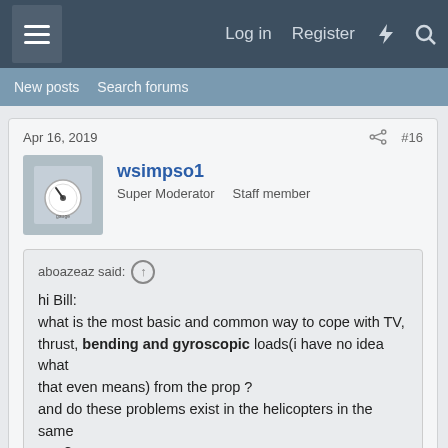Log in  Register
New posts  Search forums
Apr 16, 2019  #16
wsimpso1
Super Moderator   Staff member
aboazeaz said:
hi Bill:
what is the most basic and common way to cope with TV, thrust, bending and gyroscopic loads(i have no idea what that even means) from the prop ?
and do these problems exist in the helicopters in the same way?
TV is torsional vibration, and is the topic of this thread.
You can make the whole system really stiff and drive
resonance above the range of input vibration